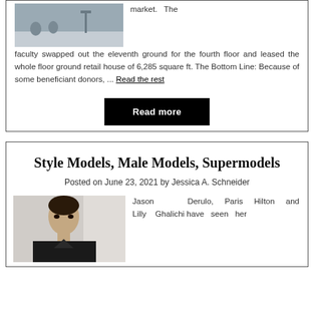[Figure (photo): Photo of outdoor scene with figures, partially cropped at top]
market. The faculty swapped out the eleventh ground for the fourth floor and leased the whole floor ground retail house of 6,285 square ft. The Bottom Line: Because of some beneficiant donors, ... Read the rest
Read more
Style Models, Male Models, Supermodels
Posted on June 23, 2021 by Jessica A. Schneider
[Figure (photo): Photo of a male model with dark hair against a light background]
Jason Derulo, Paris Hilton and Lilly Ghalichi have seen her